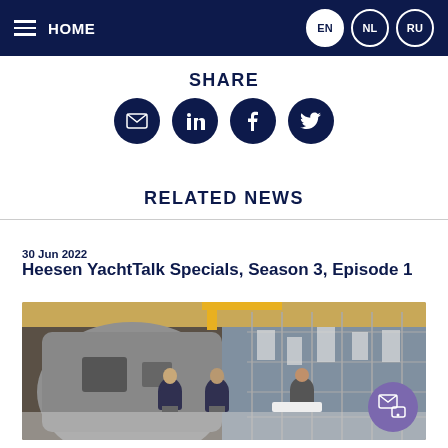HOME | EN | NL | RU
SHARE
[Figure (infographic): Four social sharing icon buttons (email, LinkedIn, Facebook, Twitter) on dark navy circular backgrounds]
RELATED NEWS
30 Jun 2022
Heesen YachtTalk Specials, Season 3, Episode 1
[Figure (photo): Three people seated in discussion inside a yacht shipyard/construction facility, with scaffolding and a large vessel hull in the background. Industrial setting with yellow crane visible overhead.]